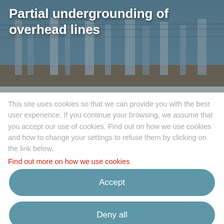[Figure (photo): Photograph of electrical utility poles and overhead power lines at a construction or excavation site, used as hero banner image behind the title text.]
Partial undergrounding of overhead lines
This site uses cookies so that we can provide you with the best user experience. If you continue your browsing, we assume that you accept our use of cookies. Find out on how we use cookies and how to change your settings to refuse them by clicking on the link below. Find out more on how we use cookies
Accept
Deny all